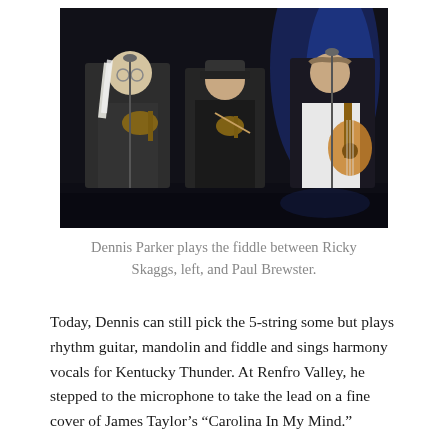[Figure (photo): Three musicians performing on stage. On the left, a man with long white hair plays mandolin. In the center, a man plays fiddle. On the right, a man in a white shirt plays acoustic guitar. The stage background is dark with blue lighting.]
Dennis Parker plays the fiddle between Ricky Skaggs, left, and Paul Brewster.
Today, Dennis can still pick the 5-string some but plays rhythm guitar, mandolin and fiddle and sings harmony vocals for Kentucky Thunder. At Renfro Valley, he stepped to the microphone to take the lead on a fine cover of James Taylor's “Carolina In My Mind.”